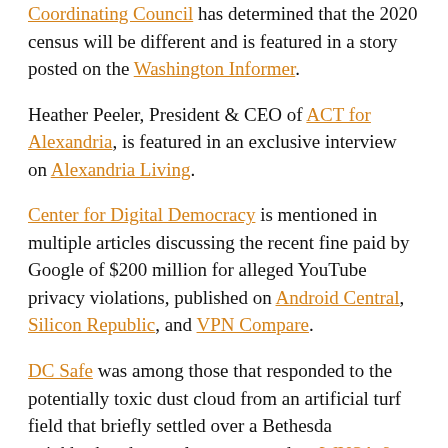Coordinating Council has determined that the 2020 census will be different and is featured in a story posted on the Washington Informer.
Heather Peeler, President & CEO of ACT for Alexandria, is featured in an exclusive interview on Alexandria Living.
Center for Digital Democracy is mentioned in multiple articles discussing the recent fine paid by Google of $200 million for alleged YouTube privacy violations, published on Android Central, Silicon Republic, and VPN Compare.
DC Safe was among those that responded to the potentially toxic dust cloud from an artificial turf field that briefly settled over a Bethesda neighborhood recently, as reported on WUSA-9.
International Institute on Race, Equality and Human Rights is featured in an article about a well-known Nicaragua LGBTQ activist on their being arrested, as reported by the...